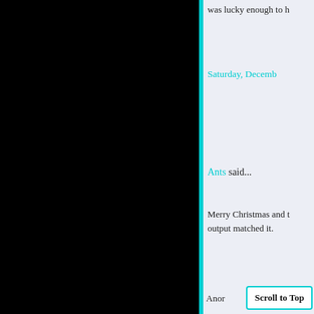was lucky enough to h
Saturday, Decemb
Ants said...
Merry Christmas and t output matched it.
Saturday, Decemb
Duntoirab said...
Merry Christmas every Whew, the days gettin village this morning. P
Saturday, Decemb
Anor
Scroll to Top